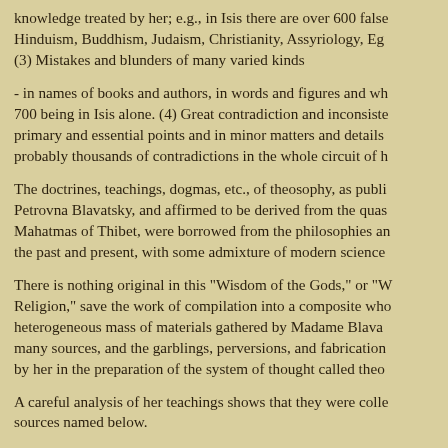knowledge treated by her; e.g., in Isis there are over 600 false references to Hinduism, Buddhism, Judaism, Christianity, Assyriology, Eg... (3) Mistakes and blunders of many varied kinds
- in names of books and authors, in words and figures and wh... 700 being in Isis alone. (4) Great contradiction and inconsiste... primary and essential points and in minor matters and details probably thousands of contradictions in the whole circuit of h...
The doctrines, teachings, dogmas, etc., of theosophy, as publi... Petrovna Blavatsky, and affirmed to be derived from the quas... Mahatmas of Thibet, were borrowed from the philosophies an... the past and present, with some admixture of modern science...
There is nothing original in this "Wisdom of the Gods," or "W... Religion," save the work of compilation into a composite who... heterogeneous mass of materials gathered by Madame Blava... many sources, and the garblings, perversions, and fabrication... by her in the preparation of the system of thought called theo...
A careful analysis of her teachings shows that they were colle... sources named below.